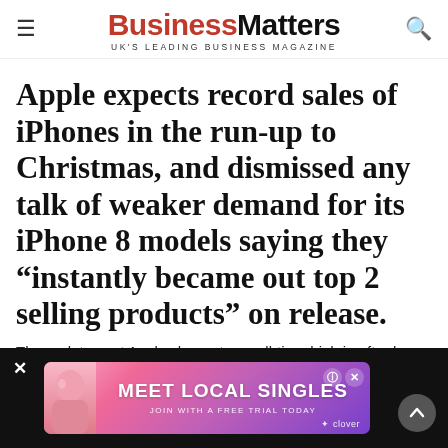Business Matters — UK'S LEADING BUSINESS MAGAZINE
Apple expects record sales of iPhones in the run-up to Christmas, and dismissed any talk of weaker demand for its iPhone 8 models saying they “instantly became out top 2 selling products” on release.
The update sent Apple shares to an all-time-high in after hours trading, up 3.2 per cent, taking its market capitalisation above $900bn (£670bn) for the first time, the Telegraph reports.
[Figure (advertisement): Advertisement banner on dark background. Shows a woman and text 'MEET LOCAL SINGLES — JOIN WITH A FREE TRIAL TODAY' by Clover. Has close button (×) and info/close badges.]